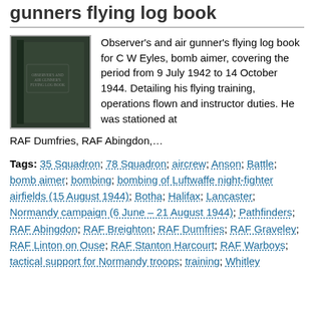gunners flying log book
[Figure (photo): Photo of a dark green hardcover Observer's and air gunner's flying log book]
Observer's and air gunner's flying log book for C W Eyles, bomb aimer, covering the period from 9 July 1942 to 14 October 1944. Detailing his flying training, operations flown and instructor duties. He was stationed at RAF Dumfries, RAF Abingdon,…
Tags: 35 Squadron; 78 Squadron; aircrew; Anson; Battle; bomb aimer; bombing; bombing of Luftwaffe night-fighter airfields (15 August 1944); Botha; Halifax; Lancaster; Normandy campaign (6 June – 21 August 1944); Pathfinders; RAF Abingdon; RAF Breighton; RAF Dumfries; RAF Graveley; RAF Linton on Ouse; RAF Stanton Harcourt; RAF Warboys; tactical support for Normandy troops; training; Whitley